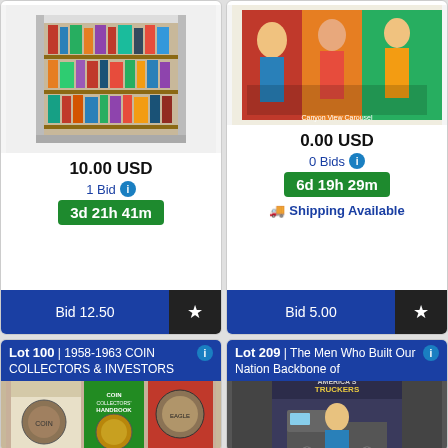[Figure (photo): Bookshelf/media storage unit with books and DVDs]
10.00 USD
1 Bid
3d 21h 41m
Bid 12.50
[Figure (photo): Colorful vintage-style poster or painting with figures]
0.00 USD
0 Bids
6d 19h 29m
Shipping Available
Bid 5.00
Lot 100 | 1958-1963 COIN COLLECTORS & INVESTORS
[Figure (photo): Coin Collectors Handbook books with coins on cover]
Lot 209 | The Men Who Built Our Nation Backbone of
[Figure (photo): Backbone of America Truckers book/item cover]